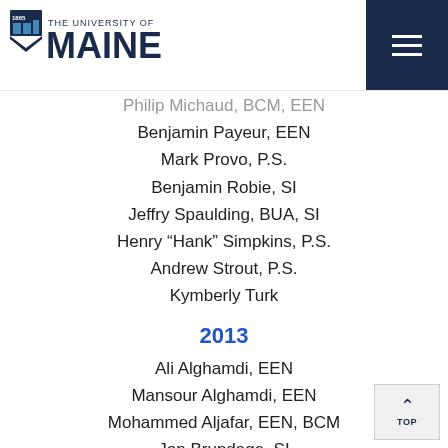1865 The University of Maine
Philip Michaud, BCM, EEN (partial, top clipped)
Benjamin Payeur, EEN
Mark Provo, P.S.
Benjamin Robie, SI
Jeffry Spaulding, BUA, SI
Henry "Hank" Simpkins, P.S.
Andrew Strout, P.S.
Kymberly Turk
2013
Ali Alghamdi, EEN
Mansour Alghamdi, EEN
Mohammed Aljafar, EEN, BCM
Jon Brundage, SI
Tyler Camick, SI
Patrick Mciver, BCM, SI (partial, bottom clipped)